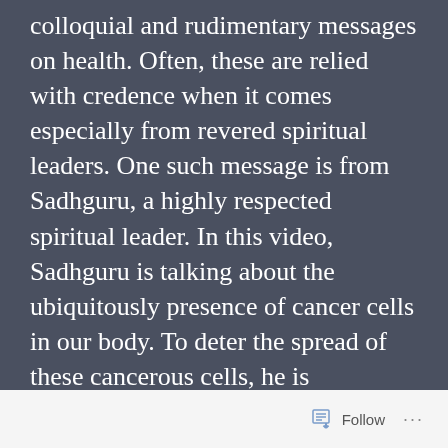colloquial and rudimentary messages on health. Often, these are relied with credence when it comes especially from revered spiritual leaders. One such message is from Sadhguru, a highly respected spiritual leader. In this video, Sadhguru is talking about the ubiquitously presence of cancer cells in our body. To deter the spread of these cancerous cells, he is recommending fasting.

First and foremost, we need to visit the definition of cancer cells. A key
Follow ...